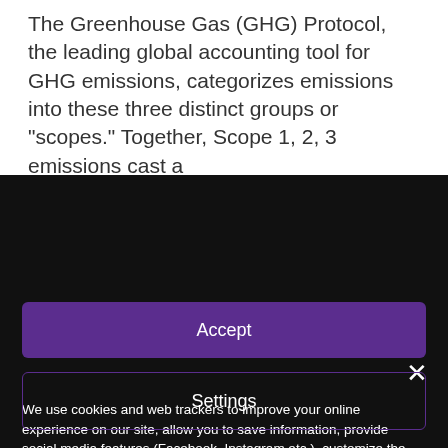The Greenhouse Gas (GHG) Protocol, the leading global accounting tool for GHG emissions, categorizes emissions into these three distinct groups or "scopes." Together, Scope 1, 2, 3 emissions cast a
We use cookies and web trackers to improve your online experience on our site, allow you to save information, provide social media features (Facebook, Instagram etc.), customize the content and ads you see based on your interests. Cookies can also help us understand how to use our site and improve its functionality. Please read our Cookie Policy here.
By closing the banner with an X, you allow the use of technical cookies only.
Accept
Settings